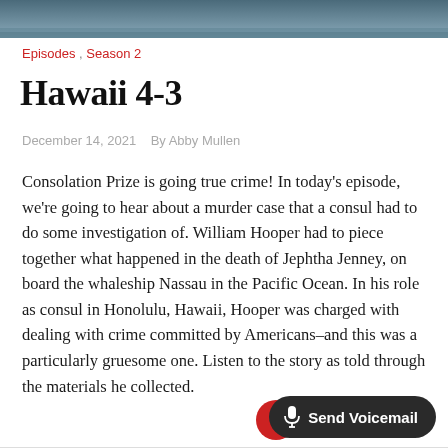[Figure (photo): Aerial or landscape photo of ocean/water scene, partially visible at the top of the page]
Episodes , Season 2
Hawaii 4-3
December 14, 2021   By Abby Mullen
Consolation Prize is going true crime! In today’s episode, we’re going to hear about a murder case that a consul had to do some investigation of. William Hooper had to piece together what happened in the death of Jephtha Jenney, on board the whaleship Nassau in the Pacific Ocean. In his role as consul in Honolulu, Hawaii, Hooper was charged with dealing with crime committed by Americans–and this was a particularly gruesome one. Listen to the story as told through the materials he collected.